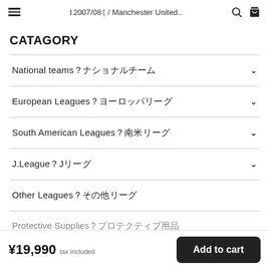≪2007/08≫ / Manchester United.. 🔍 🛒
CATAGORY
National teams／ナショナルチーム
European Leagues／ヨーロッパリーグ
South American Leagues／南米リーグ
J.League／Jリーグ
Other Leagues／その他リーグ
Protective Supplies／プロテクティブ用品
¥19,990 tax included  Add to cart